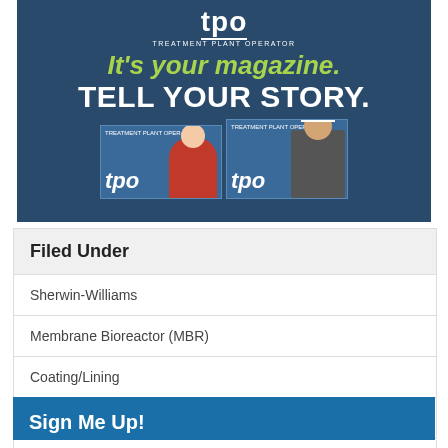[Figure (photo): TPO Treatment Plant Operator magazine advertisement with dark blue background, green italic text 'It's your magazine.' and bold white text 'TELL YOUR STORY.' with two magazine cover images at the bottom showing people on covers.]
Filed Under
Sherwin-Williams
Membrane Bioreactor (MBR)
Coating/Lining
Featured
Sign Me Up!